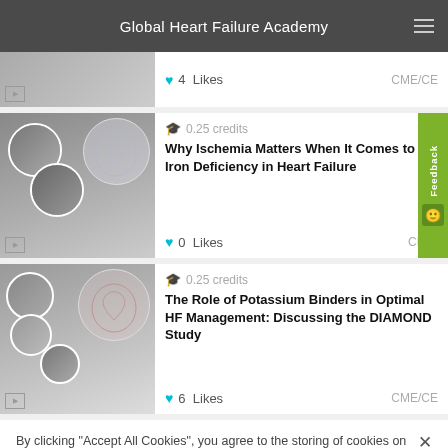Global Heart Failure Academy
4  Likes   CME/CE
0.25 credits
Why Ischemia Matters When It Comes to Iron Deficiency in Heart Failure
0  Likes   CME/CE
0.25 credits
The Role of Potassium Binders in Optimal HF Management: Discussing the DIAMOND Study
6  Likes   CME/CE
By clicking "Accept All Cookies", you agree to the storing of cookies on your device to enhance site navigation, analyze site usage, and assist in our marketing efforts.
Cookies Settings
Accept All Cookies